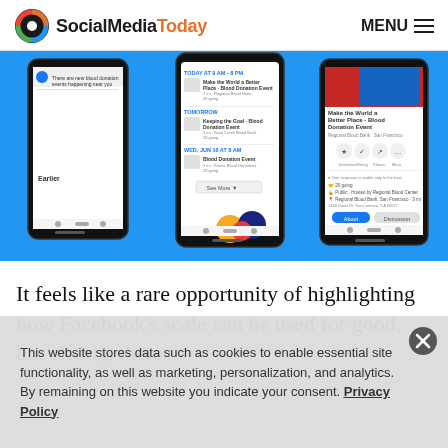SocialMediaToday MENU
[Figure (screenshot): Three phone screenshots showing Facebook blood donation events feature on blue background]
It feels like a rare opportunity of highlighting how Facebook's scale can be used for good, but clearly, there
This website stores data such as cookies to enable essential site functionality, as well as marketing, personalization, and analytics. By remaining on this website you indicate your consent. Privacy Policy